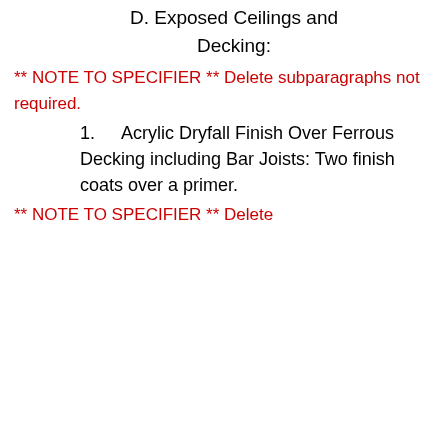D. Exposed Ceilings and Decking:
** NOTE TO SPECIFIER ** Delete subparagraphs not required.
1. Acrylic Dryfall Finish Over Ferrous Decking including Bar Joists: Two finish coats over a primer.
** NOTE TO SPECIFIER ** Delete